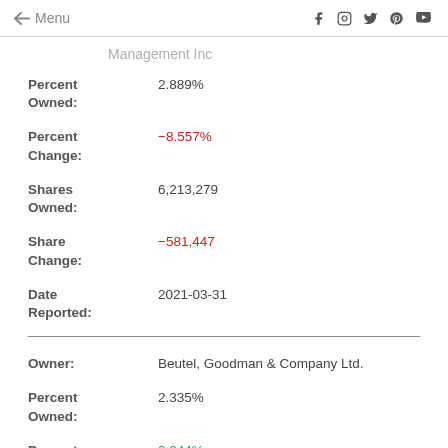← Menu
Management Inc
Percent Owned: 2.889%
Percent Change: -8.557%
Shares Owned: 6,213,279
Share Change: -581,447
Date Reported: 2021-03-31
Owner: Beutel, Goodman & Company Ltd.
Percent Owned: 2.335%
Percent Change: 0.244%